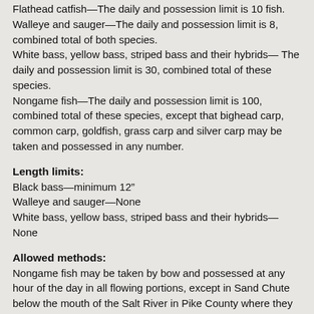Flathead catfish—The daily and possession limit is 10 fish. Walleye and sauger—The daily and possession limit is 8, combined total of both species. White bass, yellow bass, striped bass and their hybrids—The daily and possession limit is 30, combined total of these species. Nongame fish—The daily and possession limit is 100, combined total of these species, except that bighead carp, common carp, goldfish, grass carp and silver carp may be taken and possessed in any number.
Length limits:
Black bass—minimum 12"
Walleye and sauger—None
White bass, yellow bass, striped bass and their hybrids—None
Allowed methods:
Nongame fish may be taken by bow and possessed at any hour of the day in all flowing portions, except in Sand Chute below the mouth of the Salt River in Pike County where they may only be taken by bow from sunrise to